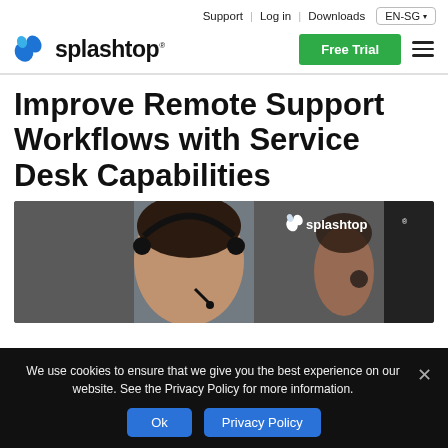Support | Log in | Downloads  EN-SG
[Figure (logo): Splashtop logo with blue splash icon and bold text 'splashtop']
Improve Remote Support Workflows with Service Desk Capabilities
[Figure (photo): Woman with headset smiling, working at a service desk, Splashtop logo visible in background]
We use cookies to ensure that we give you the best experience on our website. See the Privacy Policy for more information.
Ok  Privacy Policy